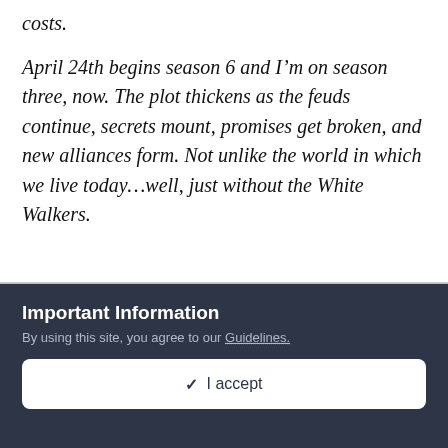costs.
April 24th begins season 6 and I’m on season three, now. The plot thickens as the feuds continue, secrets mount, promises get broken, and new alliances form. Not unlike the world in which we live today…well, just without the White Walkers.
Important Information
By using this site, you agree to our Guidelines.
✓ I accept